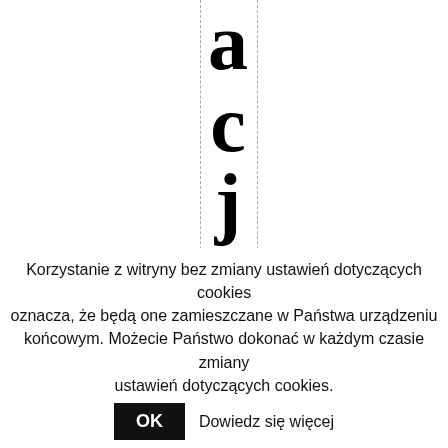a c j a
s or ry, b ut y o u d o n ot
Korzystanie z witryny bez zmiany ustawień dotyczących cookies oznacza, że będą one zamieszczane w Państwa urządzeniu końcowym. Możecie Państwo dokonać w każdym czasie zmiany ustawień dotyczących cookies. OK Dowiedz się więcej